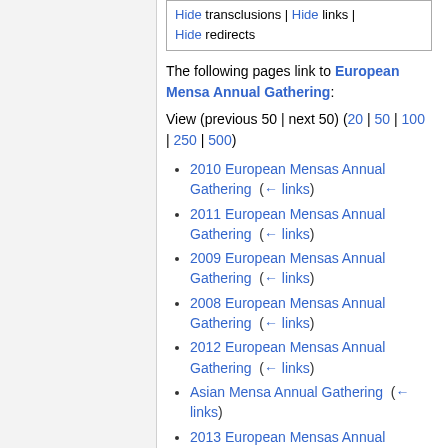Hide transclusions | Hide links | Hide redirects
The following pages link to European Mensa Annual Gathering:
View (previous 50 | next 50) (20 | 50 | 100 | 250 | 500)
2010 European Mensas Annual Gathering (← links)
2011 European Mensas Annual Gathering (← links)
2009 European Mensas Annual Gathering (← links)
2008 European Mensas Annual Gathering (← links)
2012 European Mensas Annual Gathering (← links)
Asian Mensa Annual Gathering (← links)
2013 European Mensas Annual